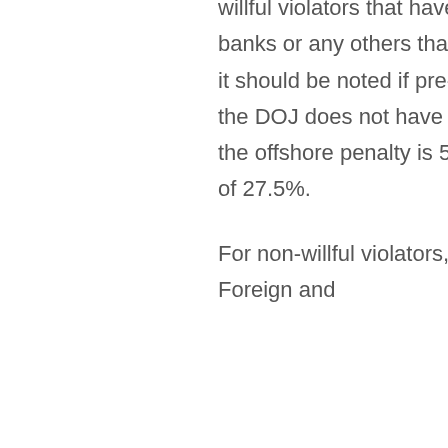willful violators that have undisclosed accounts in the above banks or any others that have reached agreement with the DOJ it should be noted if pre-clearance into Ovdp is granted (i.e., the DOJ does not have the name of the account holder), then the offshore penalty is 50% as opposed to the standard penalty of 27.5%.
For non-willful violators, the Streamline Domestic, Streamline Foreign and